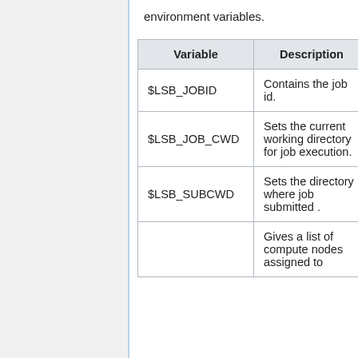environment variables.
| Variable | Description |
| --- | --- |
| $LSB_JOBID | Contains the job id. |
| $LSB_JOB_CWD | Sets the current working directory for job execution. |
| $LSB_SUBCWD | Sets the directory where job submitted . |
|  | Gives a list of compute nodes assigned to... |